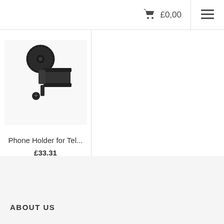£0,00
[Figure (photo): Black phone holder mount for telescope, showing a circular disc mount on top and a clamp with screw at the bottom]
Phone Holder for Tel...
£33.31
ABOUT US